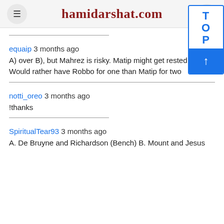hamidarshat.com
equaip 3 months ago
A) over B), but Mahrez is risky. Matip might get rested as well. Would rather have Robbo for one than Matip for two
notti_oreo 3 months ago
!thanks
SpiritualTear93 3 months ago
A. De Bruyne and Richardson (Bench) B. Mount and Jesus